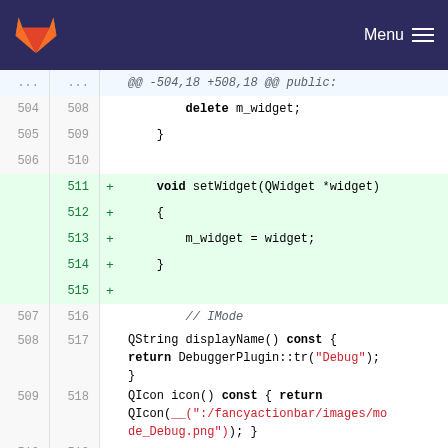[Figure (screenshot): GitLab navigation bar with logo and Menu button]
| old | new | sign | code |
| --- | --- | --- | --- |
| ... | ... |  | @@ -504,18 +508,18 @@ public: |
| 504 | 508 |  |         delete m_widget; |
| 505 | 509 |  |     } |
| 506 | 510 |  |  |
|  | 511 | + |     void setWidget(QWidget *widget) |
|  | 512 | + |     { |
|  | 513 | + |         m_widget = widget; |
|  | 514 | + |     } |
|  | 515 | + |  |
| 507 | 516 |  |         // IMode |
| 508 | 517 |  |         QString displayName() const { return DebuggerPlugin::tr("Debug"); } |
| 509 | 518 |  |         QIcon icon() const { return QIcon(__(":/fancyactionbar/images/mode_Debug.png")); } |
| 510 | 519 |  |         int priority() const { return P_MODE_DEBUG; } |
| 511 |  | - |     QWidget *widget(); |
| 512 | 520 |  |         QString id() const { return |